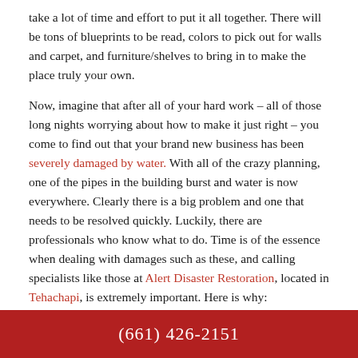take a lot of time and effort to put it all together. There will be tons of blueprints to be read, colors to pick out for walls and carpet, and furniture/shelves to bring in to make the place truly your own.
Now, imagine that after all of your hard work – all of those long nights worrying about how to make it just right – you come to find out that your brand new business has been severely damaged by water. With all of the crazy planning, one of the pipes in the building burst and water is now everywhere. Clearly there is a big problem and one that needs to be resolved quickly. Luckily, there are professionals who know what to do. Time is of the essence when dealing with damages such as these, and calling specialists like those at Alert Disaster Restoration, located in Tehachapi, is extremely important. Here is why:
Quick response: As stated before, time is of the utmost importance. Contacting professionals will help make the problem easier for you. These professionals are known for getting to your business within thirty minutes! That is so fast!
(661) 426-2151